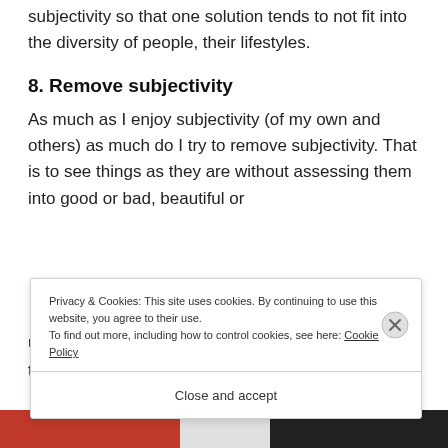subjectivity so that one solution tends to not fit into the diversity of people, their lifestyles.
8. Remove subjectivity
As much as I enjoy subjectivity (of my own and others) as much do I try to remove subjectivity. That is to see things as they are without assessing them into good or bad, beautiful or ugly, that is...
Privacy & Cookies: This site uses cookies. By continuing to use this website, you agree to their use.
To find out more, including how to control cookies, see here: Cookie Policy
Close and accept